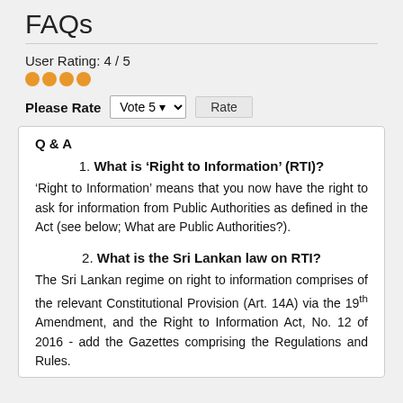FAQs
User Rating: 4 / 5
[Figure (other): Four orange filled circles representing a 4 out of 5 star rating]
Please Rate  Vote 5 ▼   Rate
Q & A
1. What is 'Right to Information' (RTI)?
'Right to Information' means that you now have the right to ask for information from Public Authorities as defined in the Act (see below; What are Public Authorities?).
2. What is the Sri Lankan law on RTI?
The Sri Lankan regime on right to information comprises of the relevant Constitutional Provision (Art. 14A) via the 19th Amendment, and the Right to Information Act, No. 12 of 2016 - add the Gazettes comprising the Regulations and Rules.